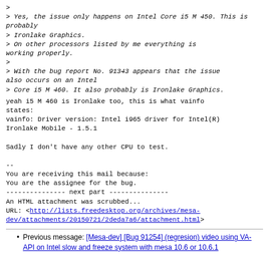> 
> Yes, the issue only happens on Intel Core i5 M 450. This is probably
> Ironlake Graphics.
> On other processors listed by me everything is working properly.
>
> With the bug report No. 91343 appears that the issue also occurs on an Intel
> Core i5 M 460. It also probably is Ironlake Graphics.
yeah i5 M 460 is Ironlake too, this is what vainfo states:
vainfo: Driver version: Intel i965 driver for Intel(R) Ironlake Mobile - 1.5.1

Sadly I don't have any other CPU to test.

--
You are receiving this mail because:
You are the assignee for the bug.
--------------- next part ---------------
An HTML attachment was scrubbed...
URL: <http://lists.freedesktop.org/archives/mesa-dev/attachments/20150721/2deda7a6/attachment.html>
Previous message: [Mesa-dev] [Bug 91254] (regresion) video using VA-API on Intel slow and freeze system with mesa 10.6 or 10.6.1